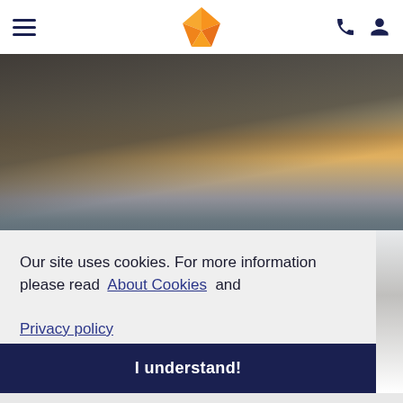Navigation header with hamburger menu, bird logo, phone and user icons
[Figure (photo): Rooftop terrace with patterned cushioned chairs and table overlooking a coastal town at sunset, with a fabric awning overhead and mountains in the background]
Our site uses cookies. For more information please read About Cookies and Privacy policy
I understand!